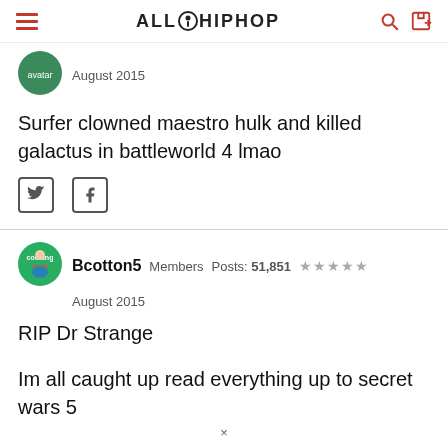ALL HIPHOP
[Figure (other): User avatar circle icon for previous poster, August 2015]
August 2015
Surfer clowned maestro hulk and killed galactus in battleworld 4 lmao
[Figure (other): Twitter and Facebook social share icons]
[Figure (other): User avatar: Bcotton5 cooking meth cartoon character]
Bcotton5  Members  Posts: 51,851  ★★★★★
August 2015
RIP Dr Strange

Im all caught up read everything up to secret wars 5